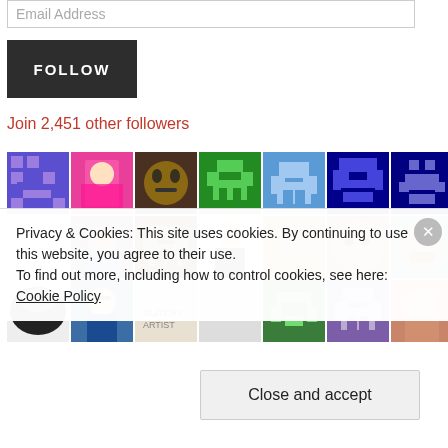Email Address
FOLLOW
Join 2,451 other followers
[Figure (photo): Grid of follower avatar thumbnails including pixel art icons and photos]
Privacy & Cookies: This site uses cookies. By continuing to use this website, you agree to their use.
To find out more, including how to control cookies, see here: Cookie Policy
Close and accept